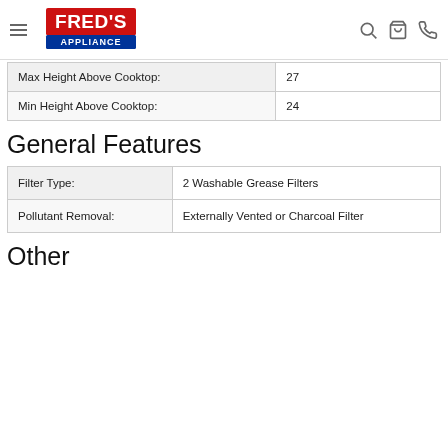Fred's Appliance
| Specification | Value |
| --- | --- |
| Max Height Above Cooktop: | 27 |
| Min Height Above Cooktop: | 24 |
General Features
| Specification | Value |
| --- | --- |
| Filter Type: | 2 Washable Grease Filters |
| Pollutant Removal: | Externally Vented or Charcoal Filter |
Other